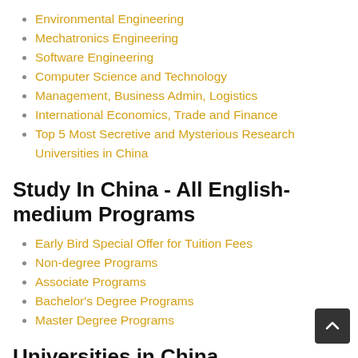Environmental Engineering
Mechatronics Engineering
Software Engineering
Computer Science and Technology
Management, Business Admin, Logistics
International Economics, Trade and Finance
Top 5 Most Secretive and Mysterious Research Universities in China
Study In China - All English-medium Programs
Early Bird Special Offer for Tuition Fees
Non-degree Programs
Associate Programs
Bachelor's Degree Programs
Master Degree Programs
Universities in China
Top 10 Universities in China by US News
Top 10 Chinese Universities with Most Alumni on 2016 Hurun Rich List
World Leaders' Favorite Chinese Universities